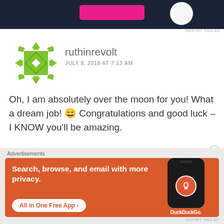[Figure (screenshot): Top portion of a website advertisement banner with dark navy background, pink button, and white circular element]
REPORT THIS AD
[Figure (illustration): Green geometric/mosaic style avatar icon for user ruthinrevolt]
ruthinrevolt
JULY 8, 2018 AT 7:13 AM
Oh, I am absolutely over the moon for you! What a dream job! 😀 Congratulations and good luck – I KNOW you'll be amazing.
Advertisements
[Figure (screenshot): DuckDuckGo advertisement banner with orange background. Text reads: Search, browse, and email with more privacy. All in One Free App. Shows a phone mockup with DuckDuckGo logo.]
REPORT THIS AD